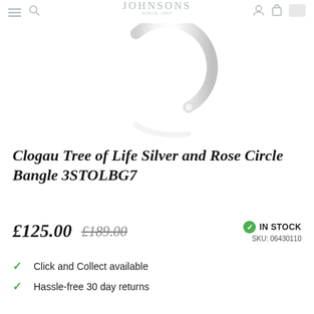JOHNSONS SINCE 1897
[Figure (photo): Silver circle bangle (C-shaped open bangle) on white background with subtle reflection below]
Clogau Tree of Life Silver and Rose Circle Bangle 3STOLBG7
£125.00  £189.00  IN STOCK  SKU: 06430110
Click and Collect available
Hassle-free 30 day returns